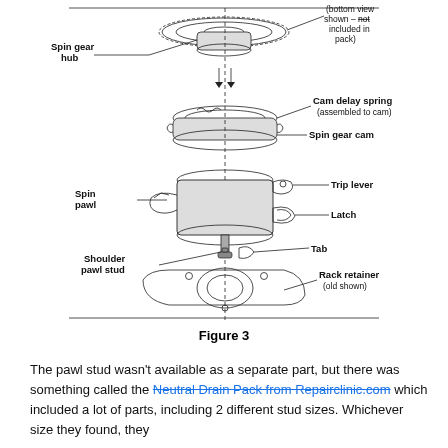[Figure (engineering-diagram): Exploded assembly diagram showing washer spin mechanism parts: Spin gear hub (top, bottom view shown - not included in pack), Cam delay spring (assembled to cam), Spin gear cam, Spin pawl, Trip lever, Latch, Shoulder pawl stud, Tab, Rack retainer (old shown). Parts shown in exploded vertical arrangement with leader lines and labels.]
Figure 3
The pawl stud wasn't available as a separate part, but there was something called the Neutral Drain Pack from Repairclinic.com which included a lot of parts, including 2 different stud sizes. Whichever size they found, they...